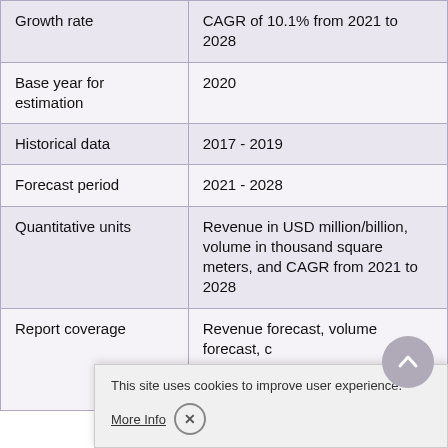|  |  |
| --- | --- |
| Growth rate | CAGR of 10.1% from 2021 to 2028 |
| Base year for estimation | 2020 |
| Historical data | 2017 - 2019 |
| Forecast period | 2021 - 2028 |
| Quantitative units | Revenue in USD million/billion, volume in thousand square meters, and CAGR from 2021 to 2028 |
| Report coverage | Revenue forecast, volume forecast, competitive landscape, growth factors and trends |